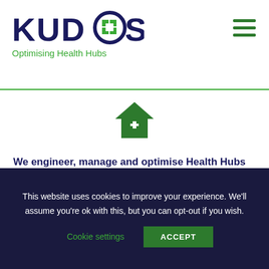[Figure (logo): KUDOS logo with green grid icon in the letter O, tagline 'Optimising Health Hubs' below in green, and a hamburger menu icon on the right]
[Figure (illustration): Green house icon with a white medical cross inside, centered on white background]
We engineer, manage and optimise Health Hubs across the Uk and operate at the convergence of digital technology and the built environment to leverage performance of spaces with
This website uses cookies to improve your experience. We'll assume you're ok with this, but you can opt-out if you wish.
Cookie settings
ACCEPT